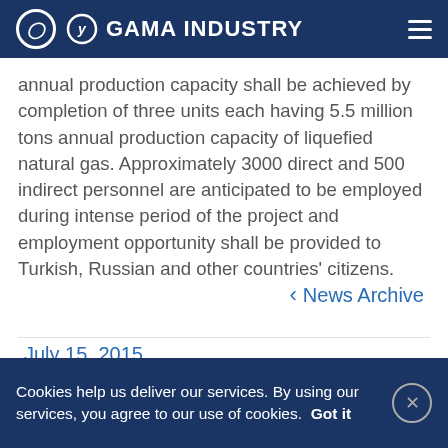GAMA INDUSTRY
annual production capacity shall be achieved by completion of three units each having 5.5 million tons annual production capacity of liquefied natural gas. Approximately 3000 direct and 500 indirect personnel are anticipated to be employed during intense period of the project and employment opportunity shall be provided to Turkish, Russian and other countries' citizens.
< News Archive
July 15, 2015
Cookies help us deliver our services. By using our services, you agree to our use of cookies. Got it